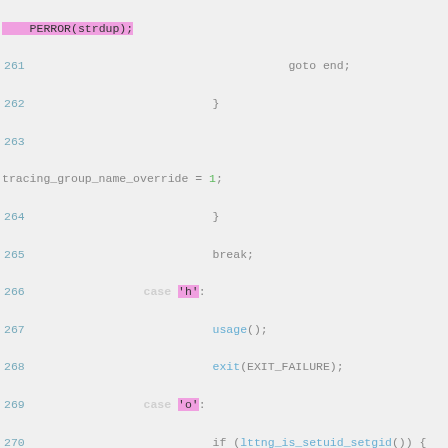[Figure (screenshot): Source code screenshot showing C code lines 261-279 with syntax highlighting on a light gray background. Contains function calls, case statements, string literals highlighted in pink, numeric literals in green, and function names in blue.]